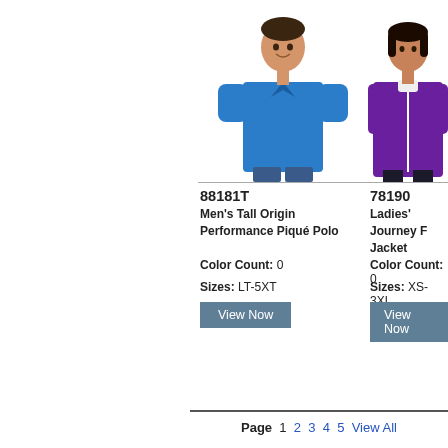[Figure (photo): Man wearing a blue polo shirt (Men's Tall Origin Performance Piqué Polo, item 88181T)]
[Figure (photo): Woman wearing a purple fleece jacket (Ladies' Journey Jacket, item 78190)]
88181T
Men's Tall Origin Performance Piqué Polo
Color Count: 0
Sizes: LT-5XT
View Now
78190
Ladies' Journey Fleece Jacket
Color Count: 0
Sizes: XS-3XL
View Now
Page 1 2 3 4 5 View All